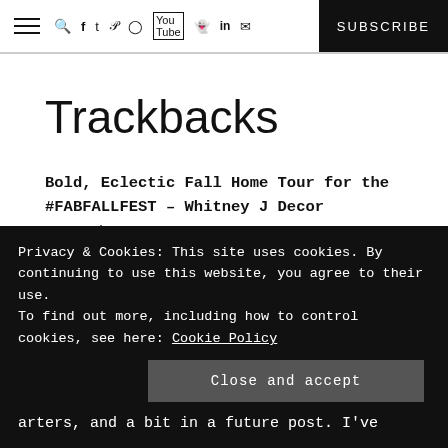≡ 🔍 f t p ⊕ ▶ 👻 in ✉ SUBSCRIBE
Trackbacks
Bold, Eclectic Fall Home Tour for the #FABFALLFEST – Whitney J Decor
September 29, 2016 at 4:28 pm
[…] Roo and another few friends of this
Privacy & Cookies: This site uses cookies. By continuing to use this website, you agree to their use. To find out more, including how to control cookies, see here: Cookie Policy
arters, and a bit in a future post. I've